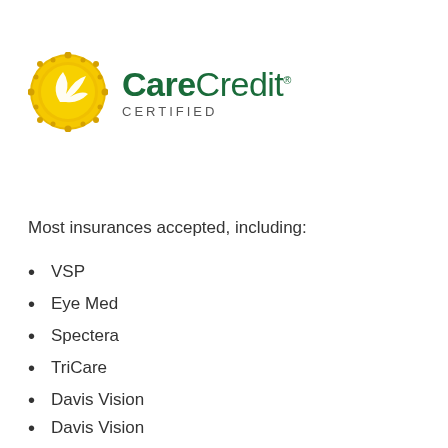[Figure (logo): CareCredit Certified logo with gold badge and green text]
Most insurances accepted, including:
VSP
Eye Med
Spectera
TriCare
Davis Vision
Georgia Medicaid
Alabama Medicaid